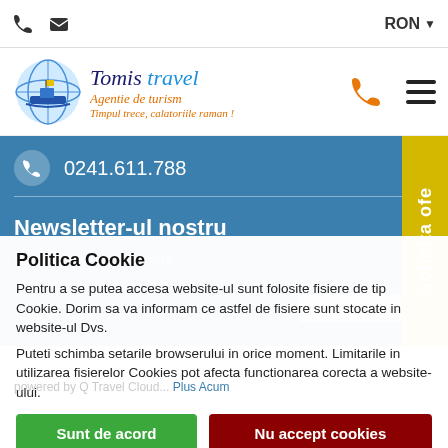Phone icon, Mail icon | RON
[Figure (logo): Tomis travel Agentie de turism logo with globe and ship illustration]
0241.611.788
Newsletter-ul nostru
Introdu adresa de email
Politica Cookie
Pentru a se putea accesa website-ul sunt folosite fisiere de tip Cookie. Dorim sa va informam ce astfel de fisiere sunt stocate in website-ul Dvs.
Puteti schimba setarile browserului in orice moment. Limitarile in utilizarea fisierelor Cookies pot afecta functionarea corecta a website-ului.
Sunt de acord | Nu accept cookies